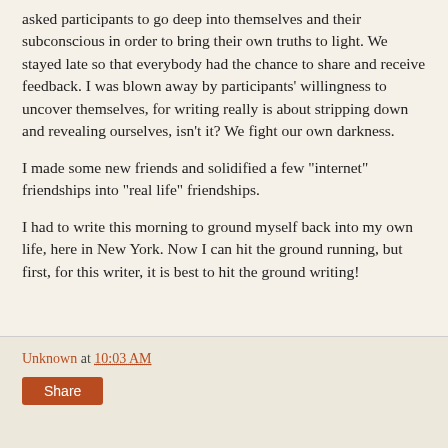asked participants to go deep into themselves and their subconscious in order to bring their own truths to light. We stayed late so that everybody had the chance to share and receive feedback. I was blown away by participants' willingness to uncover themselves, for writing really is about stripping down and revealing ourselves, isn't it? We fight our own darkness.
I made some new friends and solidified a few "internet" friendships into "real life" friendships.
I had to write this morning to ground myself back into my own life, here in New York. Now I can hit the ground running, but first, for this writer, it is best to hit the ground writing!
Unknown at 10:03 AM  Share